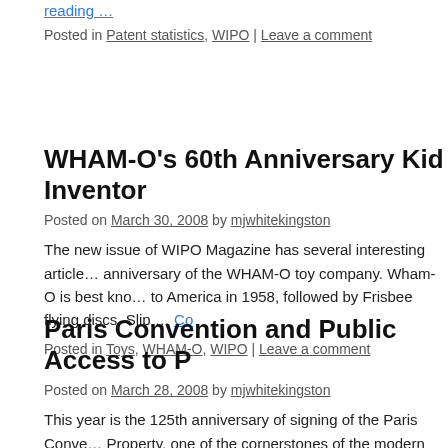reading …
Posted in Patent statistics, WIPO | Leave a comment
WHAM-O's 60th Anniversary Kid Inventor…
Posted on March 30, 2008 by mjwhitekingston
The new issue of WIPO Magazine has several interesting articles… anniversary of the WHAM-O toy company. Wham-O is best kno… to America in 1958, followed by Frisbee flying discs, Slip … Co…
Posted in Toys, WHAM-O, WIPO | Leave a comment
Paris Convention and Public Access to P…
Posted on March 28, 2008 by mjwhitekingston
This year is the 125th anniversary of signing of the Paris Conve… Property, one of the cornerstones of the modern international in… was signed in Paris by representatives of 11 countries … Contin…